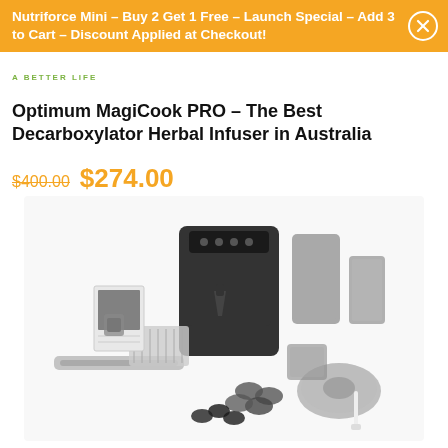Nutriforce Mini – Buy 2 Get 1 Free – Launch Special – Add 3 to Cart – Discount Applied at Checkout!
A BETTER LIFE
Optimum MagiCook PRO – The Best Decarboxylator Herbal Infuser in Australia
$400.00 $274.00
[Figure (photo): Optimum MagiCook PRO product photo showing the main unit with accessories including attachments, containers, and components laid out on a white background]